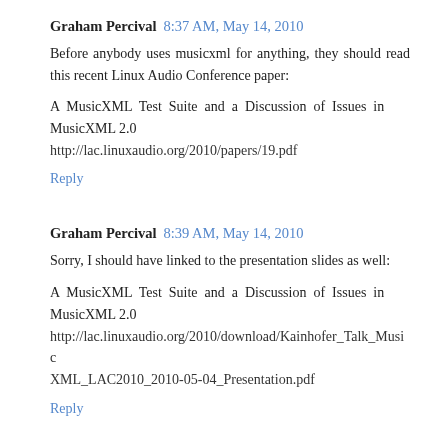Graham Percival 8:37 AM, May 14, 2010
Before anybody uses musicxml for anything, they should read this recent Linux Audio Conference paper:
A MusicXML Test Suite and a Discussion of Issues in MusicXML 2.0
http://lac.linuxaudio.org/2010/papers/19.pdf
Reply
Graham Percival 8:39 AM, May 14, 2010
Sorry, I should have linked to the presentation slides as well:
A MusicXML Test Suite and a Discussion of Issues in MusicXML 2.0
http://lac.linuxaudio.org/2010/download/Kainhofer_Talk_MusicXML_LAC2010_2010-05-04_Presentation.pdf
Reply